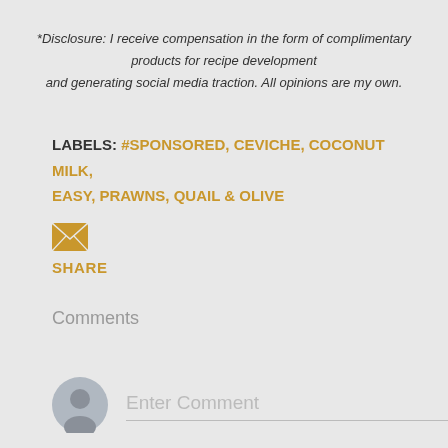*Disclosure: I receive compensation in the form of complimentary products for recipe development and generating social media traction. All opinions are my own.
LABELS: #SPONSORED, CEVICHE, COCONUT MILK, EASY, PRAWNS, QUAIL & OLIVE
[Figure (illustration): Yellow/gold email envelope icon]
SHARE
Comments
[Figure (illustration): Grey circular user avatar placeholder icon]
Enter Comment